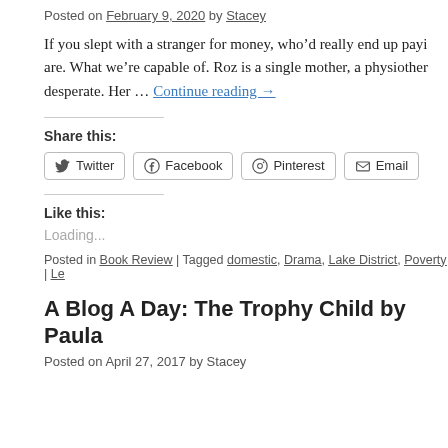Posted on February 9, 2020 by Stacey
If you slept with a stranger for money, who’d really end up paying are. What we’re capable of. Roz is a single mother, a physiother desperate. Her … Continue reading →
Share this:
Twitter  Facebook  Pinterest  Email
Like this:
Loading...
Posted in Book Review | Tagged domestic, Drama, Lake District, Poverty | Le
A Blog A Day: The Trophy Child by Paula
Posted on April 27, 2017 by Stacey